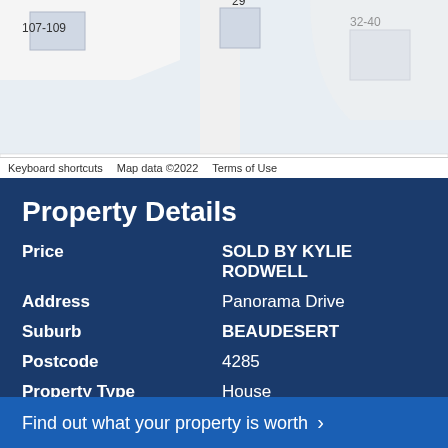[Figure (map): Street map showing numbered lots including 107-109, 29, and 32-40 with building outlines. Footer shows 'Keyboard shortcuts  Map data ©2022  Terms of Use']
Property Details
| Field | Value |
| --- | --- |
| Price | SOLD BY KYLIE RODWELL |
| Address | Panorama Drive |
| Suburb | BEAUDESERT |
| Postcode | 4285 |
| Property Type | House |
| Land Size | 2926 m2 |
| Bedrooms | 4 |
| Bathrooms |  |
| Carpark |  |
Find out what your property is worth >